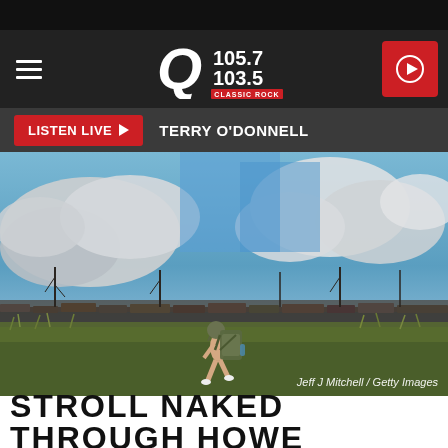Q 105.7 / 103.5 Classic Rock — navigation header
LISTEN LIVE ▶  TERRY O'DONNELL
[Figure (photo): A naked person carrying a large military-style backpack strides through tall grass in front of a dark stone wall, under a dramatic cloudy sky. Credit: Jeff J Mitchell / Getty Images]
Jeff J Mitchell / Getty Images
STROLL NAKED THROUGH HOWE